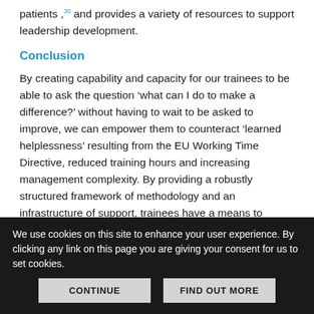patients ,30 and provides a variety of resources to support leadership development.
Conclusion
By creating capability and capacity for our trainees to be able to ask the question ‘what can I do to make a difference?’ without having to wait to be asked to improve, we can empower them to counteract ‘learned helplessness’ resulting from the EU Working Time Directive, reduced training hours and increasing management complexity. By providing a robustly structured framework of methodology and an infrastructure of support, trainees have a means to respond to the lessons of the Francis
We use cookies on this site to enhance your user experience. By clicking any link on this page you are giving your consent for us to set cookies.